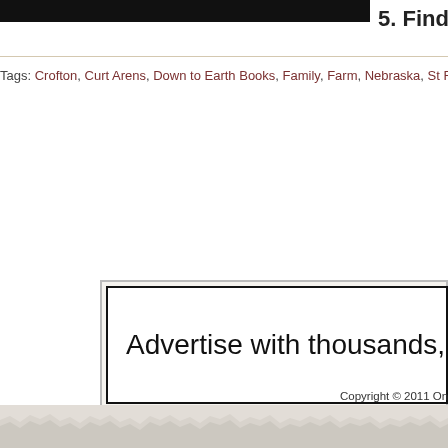[Figure (other): Black header bar at top left of page]
5. Find
Tags: Crofton, Curt Arens, Down to Earth Books, Family, Farm, Nebraska, St R
[Figure (other): Advertisement banner: Advertise with thousands, daily]
Copyright © 2011 One Billion Stories A
[Figure (other): Torn paper decorative footer element]